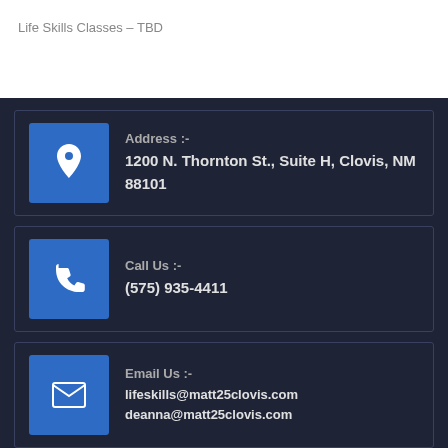Life Skills Classes – TBD
Address :- 1200 N. Thornton St., Suite H, Clovis, NM 88101
Call Us :- (575) 935-4411
Email Us :- lifeskills@matt25clovis.com deanna@matt25clovis.com